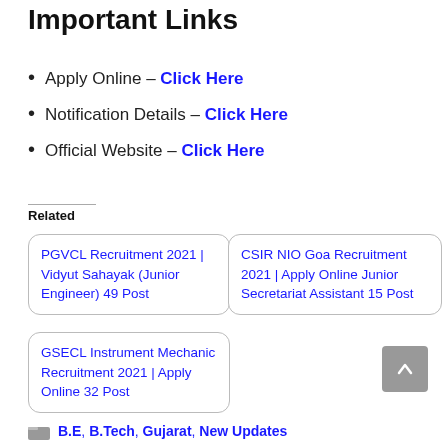Important Links
Apply Online – Click Here
Notification Details – Click Here
Official Website – Click Here
Related
PGVCL Recruitment 2021 | Vidyut Sahayak (Junior Engineer) 49 Post
CSIR NIO Goa Recruitment 2021 | Apply Online Junior Secretariat Assistant 15 Post
GSECL Instrument Mechanic Recruitment 2021 | Apply Online 32 Post
B.E, B.Tech, Gujarat, New Updates